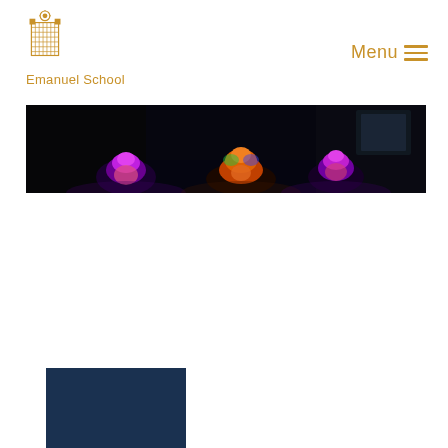[Figure (logo): Emanuel School logo with ornate crest icon above the school name in gold]
Menu
[Figure (photo): Dark stage performance photo showing figures with colourful purple and orange illuminated hair/wigs under stage lighting against black background]
[Figure (other): Dark navy/dark blue rectangular block at bottom left of page]